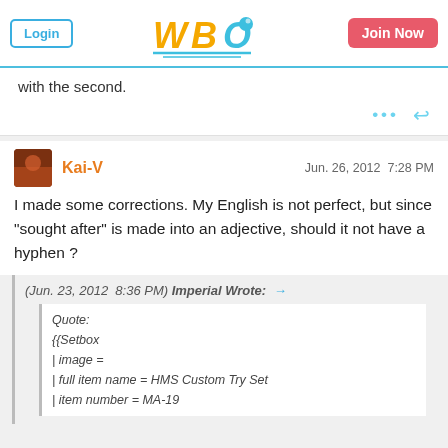Login | WBO Logo | Join Now
with the second.
Kai-V   Jun. 26, 2012  7:28 PM
I made some corrections. My English is not perfect, but since "sought after" is made into an adjective, should it not have a hyphen ?
(Jun. 23, 2012  8:36 PM) Imperial Wrote: → Quote: {{Setbox | image = | full item name = HMS Custom Try Set | item number = MA-19